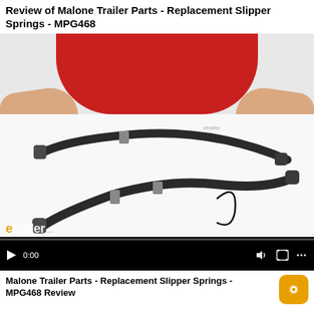Review of Malone Trailer Parts - Replacement Slipper Springs - MPG468
[Figure (screenshot): Video thumbnail showing a person in a red shirt holding two curved black slipper springs on a white surface, with video player controls at the bottom including play button, 0:00 timestamp, volume, fullscreen, and menu icons. The etrailer logo is visible at bottom left.]
Malone Trailer Parts - Replacement Slipper Springs - MPG468 Review